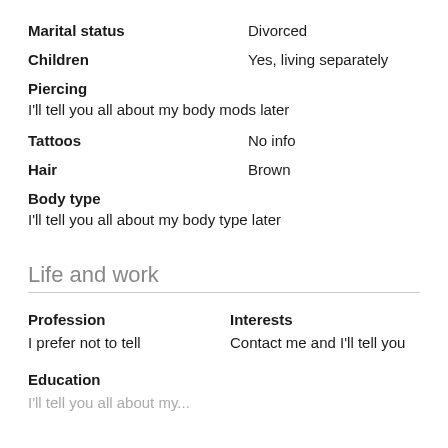Marital status: Divorced
Children: Yes, living separately
Piercing
I'll tell you all about my body mods later
Tattoos: No info
Hair: Brown
Body type
I'll tell you all about my body type later
Life and work
Profession
I prefer not to tell
Interests
Contact me and I'll tell you
Education
I'll tell you all about my...